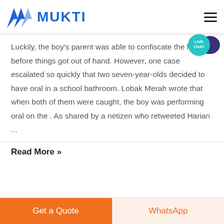MUKTI
Luckily, the boy's parent was able to confiscate the letter before things got out of hand. However, one case escalated so quickly that two seven-year-olds decided to have oral in a school bathroom. Lobak Merah wrote that when both of them were caught, the boy was performing oral on the . As shared by a netizen who retweeted Harian ...
Read More »